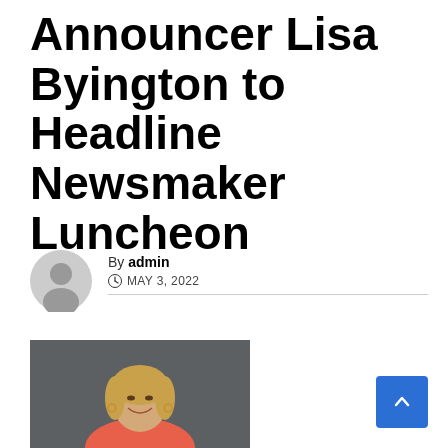Announcer Lisa Byington to Headline Newsmaker Luncheon
By admin | MAY 3, 2022
[Figure (photo): Headshot photo of a blonde woman smiling, wearing a red/coral sleeveless top, against a dark grey background]